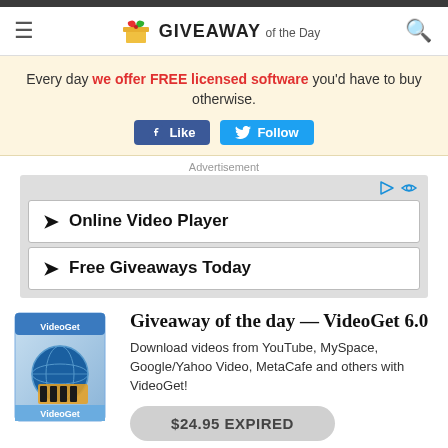GIVEAWAY of the Day
Every day we offer FREE licensed software you'd have to buy otherwise.
[Figure (screenshot): Facebook Like button and Twitter Follow button]
Advertisement
[Figure (screenshot): Advertisement box with two rows: Online Video Player, Free Giveaways Today]
Giveaway of the day — VideoGet 6.0
Download videos from YouTube, MySpace, Google/Yahoo Video, MetaCafe and others with VideoGet!
$24.95 EXPIRED